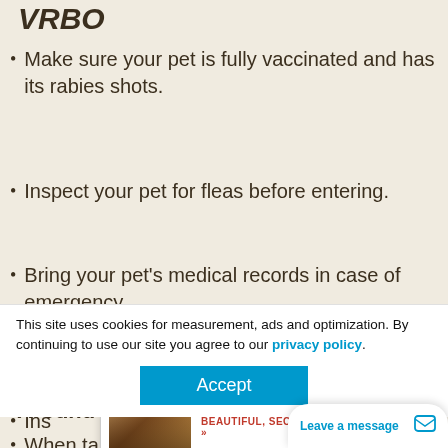VRBO
Make sure your pet is fully vaccinated and has its rabies shots.
Inspect your pet for fleas before entering.
Bring your pet’s medical records in case of emergency.
[Figure (other): Ad popup for Blue Lake Ranch - BEAUTIFUL, SECLUDED COUNTRY INN with close button and property image]
Ins[pect...], or
This site uses cookies for measurement, ads and optimization. By continuing to use our site you agree to our privacy policy.
Accept
Around Other People/Pets
When taki[ng...] s River,